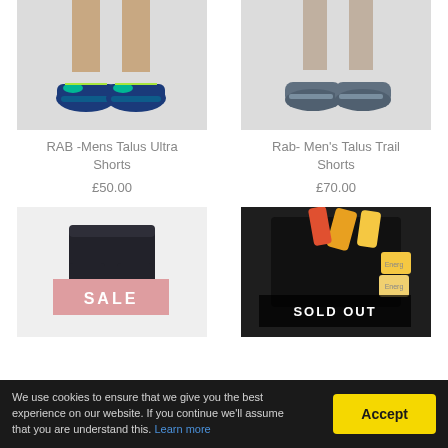[Figure (photo): Product photo: lower legs wearing blue/teal trail running shoes on white background - RAB Mens Talus Ultra Shorts product]
RAB -Mens Talus Ultra Shorts
£50.00
[Figure (photo): Product photo: lower legs wearing grey trail shoes on white background - Rab Mens Talus Trail Shorts product]
Rab- Men's Talus Trail Shorts
£70.00
[Figure (photo): Product photo: black running shorts on light grey background with pink SALE badge overlay]
[Figure (photo): Product photo: black running shorts/vest on dark background with energy gels, SOLD OUT badge overlay]
We use cookies to ensure that we give you the best experience on our website. If you continue we'll assume that you are understand this. Learn more